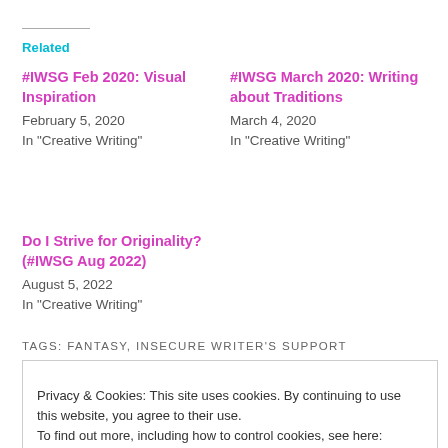Related
#IWSG Feb 2020: Visual Inspiration
February 5, 2020
In "Creative Writing"
#IWSG March 2020: Writing about Traditions
March 4, 2020
In "Creative Writing"
Do I Strive for Originality? (#IWSG Aug 2022)
August 5, 2022
In "Creative Writing"
TAGS: FANTASY, INSECURE WRITER'S SUPPORT
Privacy & Cookies: This site uses cookies. By continuing to use this website, you agree to their use.
To find out more, including how to control cookies, see here: Privacy Policy
Close and accept